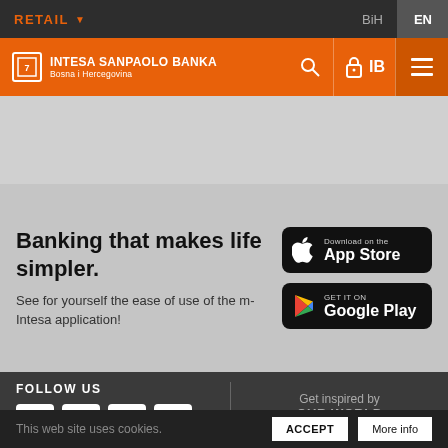RETAIL  BiH  EN
[Figure (logo): Intesa Sanpaolo Banka Bosna i Hercegovina logo on orange header bar with search, lock/IB, and menu icons]
Banking that makes life simpler.
See for yourself the ease of use of the m-Intesa application!
[Figure (illustration): Download on the App Store button (black, with Apple logo)]
[Figure (illustration): GET IT ON Google Play button (black, with Play Store logo)]
FOLLOW US
Get inspired by OUR WORLD
[Figure (illustration): Social media icons: Facebook, LinkedIn, YouTube, Instagram]
This web site uses cookies.
ACCEPT
More info